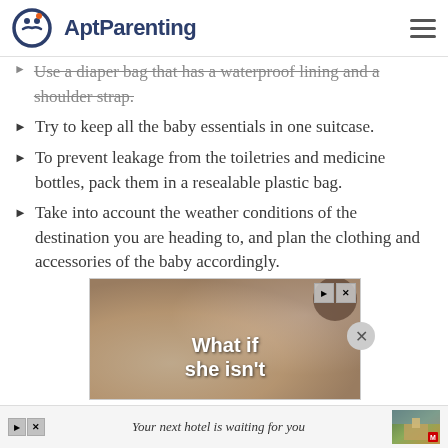AptParenting
Use a diaper bag that has a waterproof lining and a shoulder strap.
Try to keep all the baby essentials in one suitcase.
To prevent leakage from the toiletries and medicine bottles, pack them in a resealable plastic bag.
Take into account the weather conditions of the destination you are heading to, and plan the clothing and accessories of the baby accordingly.
[Figure (screenshot): Video advertisement overlay showing a blurred close-up of hands with bold white text 'What if she isn't' and playback/close controls]
[Figure (screenshot): Bottom banner advertisement: 'Your next hotel is waiting for you' with a landscape thumbnail]